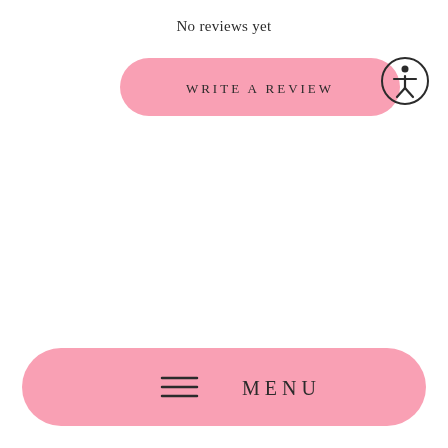No reviews yet
[Figure (screenshot): Pink rounded button labeled WRITE A REVIEW]
[Figure (illustration): Accessibility icon: circle with stick figure person inside]
[Figure (screenshot): Pink rounded button with hamburger menu icon and text MENU]